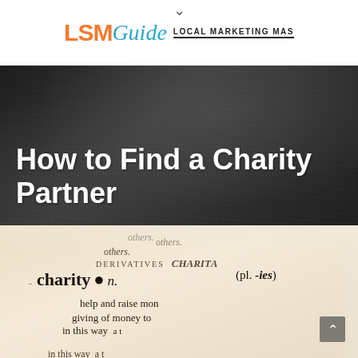LSMGuide LOCAL MARKETING MAS
How to Find a Charity Partner
[Figure (photo): Close-up photograph of a dictionary page showing the entry for 'charity' with text: others. DERIVATIVES charit- charity n. (pl. -ies) help and raise mon giving of money to in this way a t...]